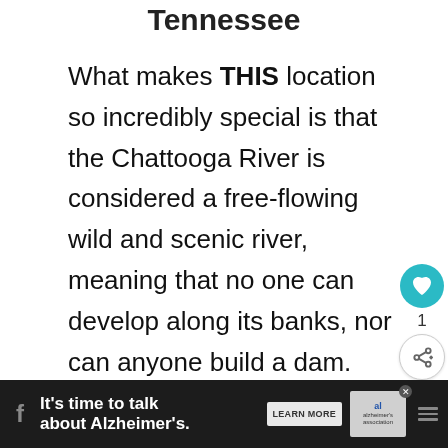Tennessee
What makes THIS location so incredibly special is that the Chattooga River is considered a free-flowing wild and scenic river, meaning that no one can develop along its banks, nor can anyone build a dam.
You won't see condos, restaurants,
[Figure (infographic): Social interaction buttons: heart/like button in teal with count of 1, and a share button]
[Figure (infographic): What's Next widget showing a thumbnail of Southern California with arrow and label]
[Figure (infographic): Advertisement banner: It's time to talk about Alzheimer's. LEARN MORE. Alzheimer's Association logo. Dark background with white text.]